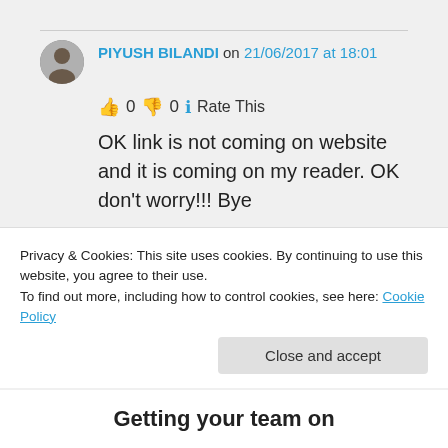PIYUSH BILANDI on 21/06/2017 at 18:01
👍 0 👎 0 ℹ Rate This
OK link is not coming on website and it is coming on my reader. OK don't worry!!! Bye
★ Liked by 3 people
Log in to Reply
Privacy & Cookies: This site uses cookies. By continuing to use this website, you agree to their use. To find out more, including how to control cookies, see here: Cookie Policy
Close and accept
Getting your team on